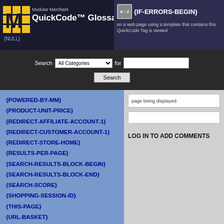Modular Merchant QuickCode™ Glossary
{IF-ERRORS-BEGIN} - When a web page using a template that contains this QuickCode Tag is viewed, page being displayed.
Search All Categories for [Search]
{POWERED-BY-MM}
{PRODUCT-UNIT-PRICE}
{REDIRECT-AFFILIATE-ACCOUNT-1}
{REDIRECT-CUSTOMER-ACCOUNT-1}
{REDIRECT-STORE-HOME}
{RESULTS-PER-PAGE}
{SEARCH-RESULTS-BLOCK-BEGIN}
{SEARCH-RESULTS-BLOCK-END}
{SEARCH-SCORE}
{SHOPPING-SESSION-ID}
{THIS-PAGE}
{URL-BASKET}
{URL-CHECKOUT}
{URL-CUSTOMER-ACCOUNT}
{URL-CUSTOMER-FETCH-LOGIN}
{URL-CUSTOMER-LOGIN}
LOG IN TO ADD COMMENTS